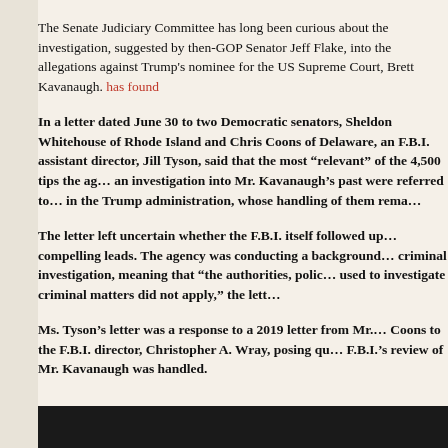The Senate Judiciary Committee has long been curious about the investigation, suggested by then-GOP Senator Jeff Flake, into the allegations against Trump's nominee for the US Supreme Court, Brett Kavanaugh. has found
In a letter dated June 30 to two Democratic senators, Sheldon Whitehouse of Rhode Island and Chris Coons of Delaware, an F.B.I. assistant director, Jill Tyson, said that the most “relevant” of the 4,500 tips the agency received about an investigation into Mr. Kavanaugh’s past were referred to officials in the Trump administration, whose handling of them rema…
The letter left uncertain whether the F.B.I. itself followed up on the most compelling leads. The agency was conducting a background, not a criminal investigation, meaning that “the authorities, policies and procedures used to investigate criminal matters did not apply,” the lett…
Ms. Tyson’s letter was a response to a 2019 letter from Mr. Whitehouse and Mr. Coons to the F.B.I. director, Christopher A. Wray, posing questions about how the F.B.I.’s review of Mr. Kavanaugh was handled.
[Figure (photo): Dark image strip at the bottom of the page]